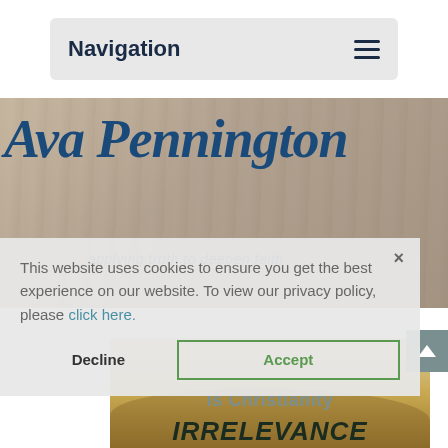Navigation
[Figure (screenshot): Hero banner with wood texture background showing 'Ava Pennington' in large blue italic script font and tagline 'applying truth to deepen faith']
This website uses cookies to ensure you get the best experience on our website. To view our privacy policy, please click here.
Decline
Accept
Is Christianity
IRRELEVANCE